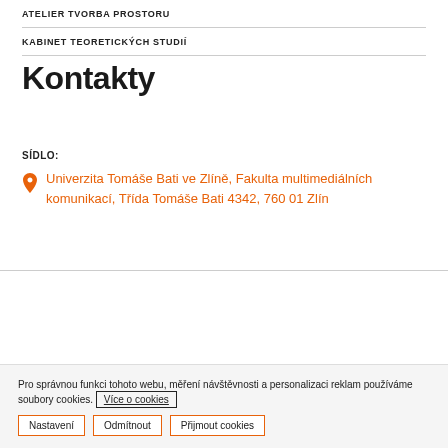ATELIER TVORBA PROSTORU
KABINET TEORETICKÝCH STUDIÍ
Kontakty
SÍDLO:
Univerzita Tomáše Bati ve Zlíně, Fakulta multimediálních komunikací, Třída Tomáše Bati 4342, 760 01 Zlín
Pro správnou funkci tohoto webu, měření návštěvnosti a personalizaci reklam používáme soubory cookies. Více o cookies
Nastavení | Odmítnout | Přijmout cookies